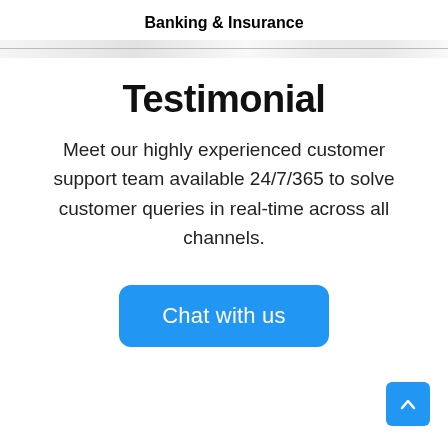Banking & Insurance
[Figure (other): Decorative blurred divider line spanning full width]
Testimonial
Meet our highly experienced customer support team available 24/7/365 to solve customer queries in real-time across all channels.
[Figure (other): Blue 'Chat with us' button]
[Figure (other): Blue scroll-to-top arrow button in bottom right corner]